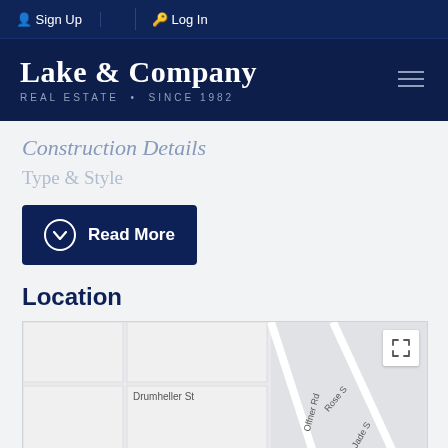Sign Up | Log In
[Figure (logo): Lake & Company Real Estate - Since 1982 logo on dark navy background]
Construction Details
Type & Style
Read More
Location
[Figure (map): Street map showing Drumheller St, Offner Rd, Jade St, Rose St intersection area]